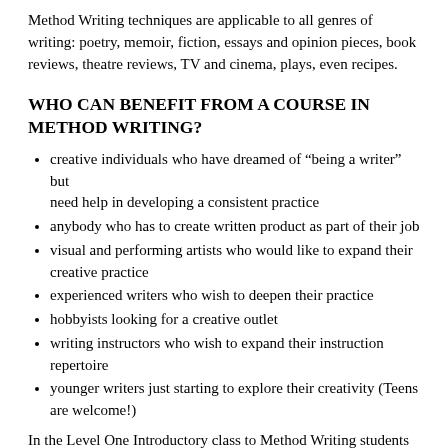Method Writing techniques are applicable to all genres of writing: poetry, memoir, fiction, essays and opinion pieces, book reviews, theatre reviews, TV and cinema, plays, even recipes.
WHO CAN BENEFIT FROM A COURSE IN METHOD WRITING?
creative individuals who have dreamed of “being a writer” but need help in developing a consistent practice
anybody who has to create written product as part of their job
visual and performing artists who would like to expand their creative practice
experienced writers who wish to deepen their practice
hobbyists looking for a creative outlet
writing instructors who wish to expand their instruction repertoire
younger writers just starting to explore their creativity (Teens are welcome!)
In the Level One Introductory class to Method Writing students learn an approach that can reliably help them to: